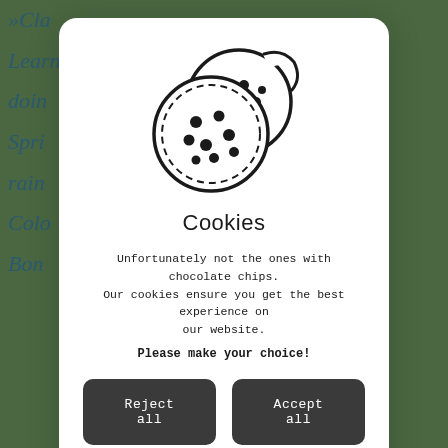[Figure (screenshot): Website background partially visible behind cookie consent modal, showing teal/blue text links on dark green background including fragments: »Cla, Learn, doin, Spri, rain, Colo, Bon]
[Figure (illustration): Cookie icon: two round cookies with bite taken out and chocolate chip dots, drawn in black outline style]
Cookies
Unfortunately not the ones with chocolate chips. Our cookies ensure you get the best experience on our website.
Please make your choice!
Reject all
Accept all
I need more information